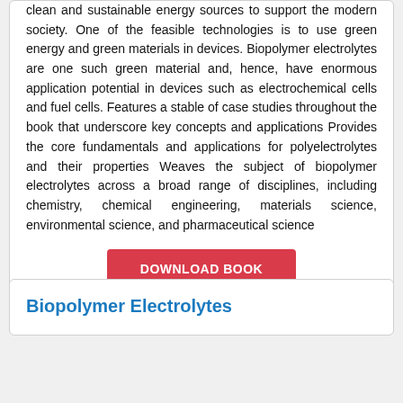clean and sustainable energy sources to support the modern society. One of the feasible technologies is to use green energy and green materials in devices. Biopolymer electrolytes are one such green material and, hence, have enormous application potential in devices such as electrochemical cells and fuel cells. Features a stable of case studies throughout the book that underscore key concepts and applications Provides the core fundamentals and applications for polyelectrolytes and their properties Weaves the subject of biopolymer electrolytes across a broad range of disciplines, including chemistry, chemical engineering, materials science, environmental science, and pharmaceutical science
DOWNLOAD BOOK
Biopolymer Electrolytes